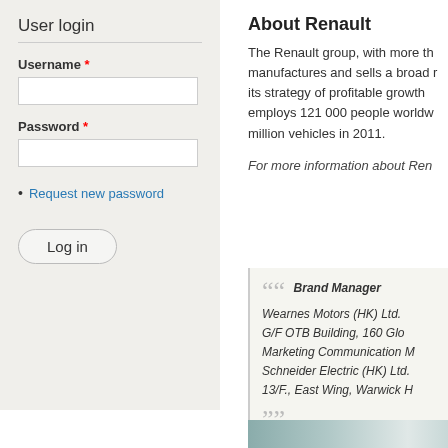User login
Username *
Password *
Request new password
Log in
About Renault
The Renault group, with more th... manufactures and sells a broad r... its strategy of profitable growth ... employs 121 000 people worldw... million vehicles in 2011.
For more information about Ren...
Brand Manager Wearnes Motors (HK) Ltd. G/F OTB Building, 160 Glo... Marketing Communication M... Schneider Electric (HK) Ltd... 13/F., East Wing, Warwick H...
[Figure (photo): Partial image of a teal/blue surface at the bottom right]